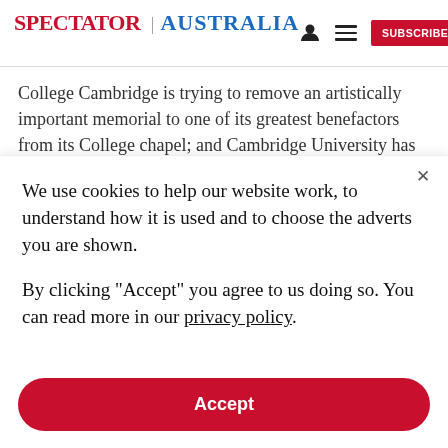SPECTATOR | AUSTRALIA
College Cambridge is trying to remove an artistically important memorial to one of its greatest benefactors from its College chapel; and Cambridge University has set up a commission to enquire into its links with slavery. The National Trust has been busy pointing out
We use cookies to help our website work, to understand how it is used and to choose the adverts you are shown.

By clicking "Accept" you agree to us doing so. You can read more in our privacy policy.
Accept